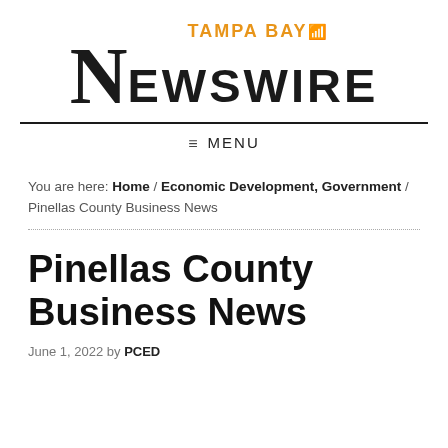[Figure (logo): Tampa Bay Newswire logo with orange 'TAMPA BAY' text and wifi icon above large black 'NEWSWIRE' wordmark]
≡  MENU
You are here: Home / Economic Development, Government / Pinellas County Business News
Pinellas County Business News
June 1, 2022 by PCED